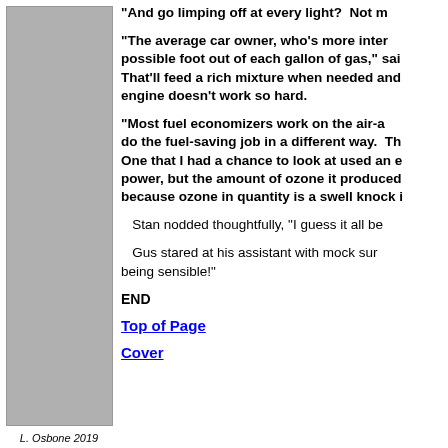[Figure (other): Gray rectangle panel on the left side of the page]
"And go limping off at every light?  Not m
"The average car owner, who's more inter possible foot out of each gallon of gas," sai That'll feed a rich mixture when needed and engine doesn't work so hard.
"Most fuel economizers work on the air-ac do the fuel-saving job in a different way.  Th One that I had a chance to look at used an e power, but the amount of ozone it produced because ozone in quantity is a swell knock i
Stan nodded thoughtfully, "I guess it all be
Gus stared at his assistant with mock sur being sensible!"
END
Top of Page
Cover
L. Osbone 2019